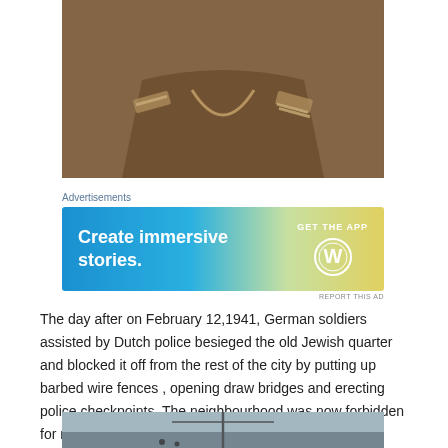[Figure (photo): Close-up photograph of a military uniform, showing collar and shoulder epaulettes, sepia/brown toned historical photo]
[Figure (screenshot): Advertisement banner: 'Create immersive stories. GET THE APP' with WordPress logo, blue-to-green-to-yellow gradient background. Labeled 'Advertisements' above and 'REPORT THIS AD' below.]
The day after on February 12,1941, German soldiers assisted by Dutch police besieged the old Jewish quarter and blocked it off from the rest of the city by putting up barbed wire fences , opening draw bridges and erecting police checkpoints. The neighbourhood was now forbidden for non-Jews.
[Figure (photo): Partial photograph at bottom of page showing what appears to be a mast or pole structure, blue-grey toned historical photo]